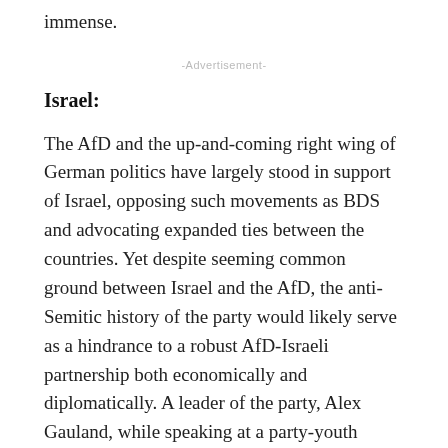immense.
-Advertisement-
Israel:
The AfD and the up-and-coming right wing of German politics have largely stood in support of Israel, opposing such movements as BDS and advocating expanded ties between the countries. Yet despite seeming common ground between Israel and the AfD, the anti-Semitic history of the party would likely serve as a hindrance to a robust AfD-Israeli partnership both economically and diplomatically. A leader of the party, Alex Gauland, while speaking at a party-youth event, called the Holocaust “a speck of bird s**t” compared to the whole of German history. At a separate engagement, Gauland stressed the importance of a